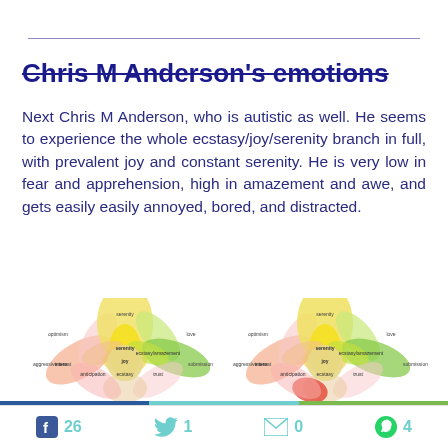Chris M Anderson's emotions
Next Chris M Anderson, who is autistic as well. He seems to experience the whole ecstasy/joy/serenity branch in full, with prevalent joy and constant serenity. He is very low in fear and apprehension, high in amazement and awe, and gets easily annoyed, bored, and distracted.
[Figure (other): Two emotion flower radar charts showing Chris M Anderson's emotional profile with petals labeled: optimism, love, serenity, joy, anticipation, trust, ecstasy/amazement, vigilance, admiration, submission, aggressiveness, interest, annoyance/boredom]
f 26   🐦 1   ✉ 0   WhatsApp 4